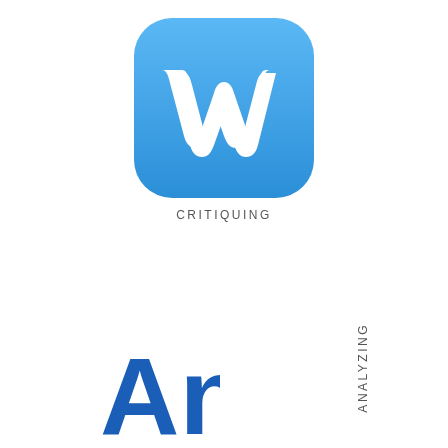[Figure (logo): Weebly app icon - blue rounded square with white W logo]
CRITIQUING
[Figure (logo): Partially visible blue 'An' logo in bottom left]
ANALYZING